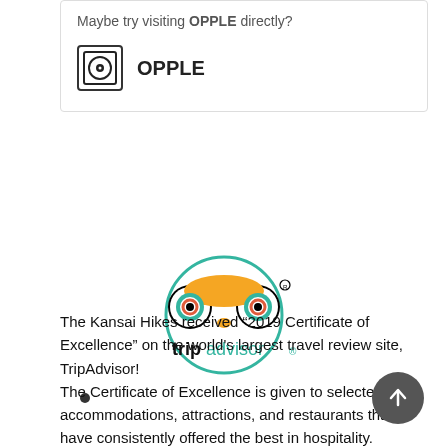Maybe try visiting OPPLE directly?
[Figure (logo): OPPLE logo — black outlined square with circle inside containing a dot, with OPPLE text beside it]
[Figure (logo): TripAdvisor logo — owl face with green teal circular border, 'tripadvisor' text below in black and green]
The Kansai Hikes received “2019 Certificate of Excellence” on the world's largest travel review site, TripAdvisor!
The Certificate of Excellence is given to selected accommodations, attractions, and restaurants that have consistently offered the best in hospitality.